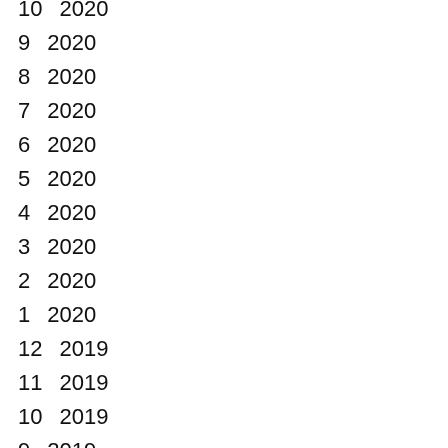10월 2020
9월 2020
8월 2020
7월 2020
6월 2020
5월 2020
4월 2020
3월 2020
2월 2020
1월 2020
12월 2019
11월 2019
10월 2019
9월 2019